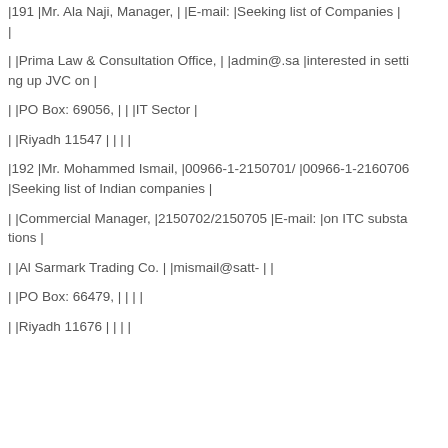|191 |Mr. Ala Naji, Manager, | |E-mail: |Seeking list of Companies |
| |Prima Law & Consultation Office, | |admin@.sa |interested in setting up JVC on |
| |PO Box: 69056, | | |IT Sector |
| |Riyadh 11547 | | | |
|192 |Mr. Mohammed Ismail, |00966-1-2150701/ |00966-1-2160706 |Seeking list of Indian companies |
| |Commercial Manager, |2150702/2150705 |E-mail: |on ITC substations |
| |Al Sarmark Trading Co. | |mismail@satt- | |
| |PO Box: 66479, | | | |
| |Riyadh 11676 | | | |